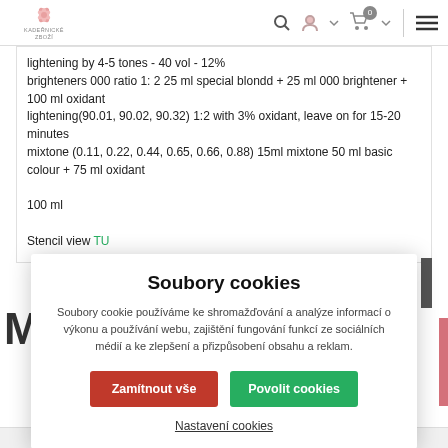KADEŘNICKÉ ZBOŽÍ — navigation bar with logo, search, user, cart, menu icons
lightening by 4-5 tones - 40 vol - 12%
brighteners 000 ratio 1: 2 25 ml special blondd + 25 ml 000 brightener + 100 ml oxidant
lightening(90.01, 90.02, 90.32) 1:2 with 3% oxidant, leave on for 15-20 minutes
mixtone (0.11, 0.22, 0.44, 0.65, 0.66, 0.88) 15ml mixtone 50 ml basic colour + 75 ml oxidant

100 ml

Stencil view TU
Soubory cookies
Soubory cookie používáme ke shromažďování a analýze informací o výkonu a používání webu, zajištění fungování funkcí ze sociálních médií a ke zlepšení a přizpůsobení obsahu a reklam.
Zamítnout vše
Povolit cookies
Nastavení cookies